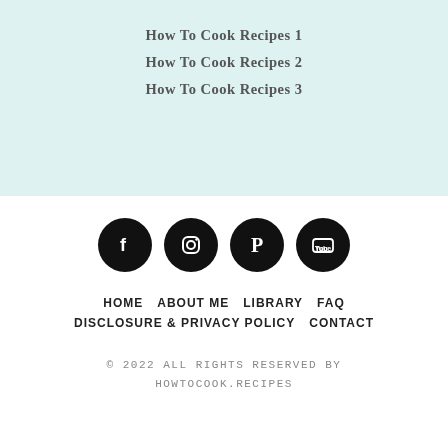How To Cook Recipes 1
How To Cook Recipes 2
How To Cook Recipes 3
[Figure (other): Social media icons: Facebook, Instagram, Pinterest, YouTube — black circular buttons]
HOME   ABOUT ME   LIBRARY   FAQ   DISCLOSURE & PRIVACY POLICY   CONTACT
© 2022 ALL RIGHTS RESERVED BY HOWTOCOOK.RECIPES